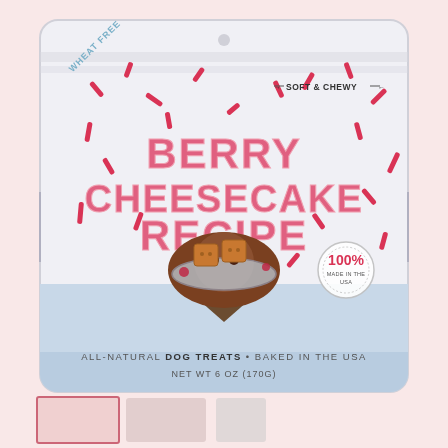[Figure (photo): Product photo of a dog treat bag with white and light blue packaging. The bag shows red sprinkle-like decorations scattered across it. Text on bag reads: 'WHEAT FREE' on upper left diagonal banner, 'SOFT & CHEWY' on upper right with arrows, 'BERRY CHEESECAKE RECIPE' in large pink bubbly letters in the center, a circular seal reading '100%' on the right side, and at the bottom 'ALL-NATURAL DOG TREATS • BAKED IN THE USA' and 'NET WT 6 OZ (170G)'. Below the product name is an illustration of a dog wearing a cone collar with treat biscuits shown. The lower portion of the bag is light blue.]
[Figure (photo): Row of thumbnail images at the bottom of the page showing the same product from different angles or related products.]